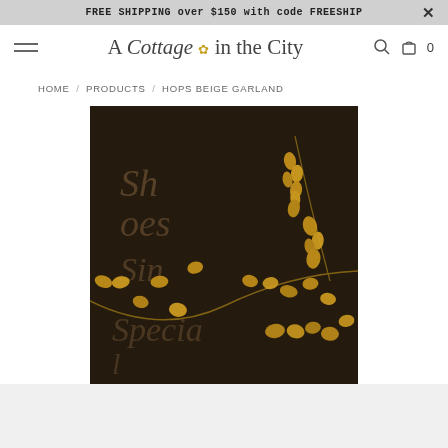FREE SHIPPING over $150 with code FREESHIP
[Figure (logo): A Cottage in the City logo with decorative script and small flower icon]
HOME / PRODUCTS / HOPS BEIGE GARLAND
[Figure (photo): Photo of a hops beige garland draped over a dark rustic chalkboard sign with vintage lettering]